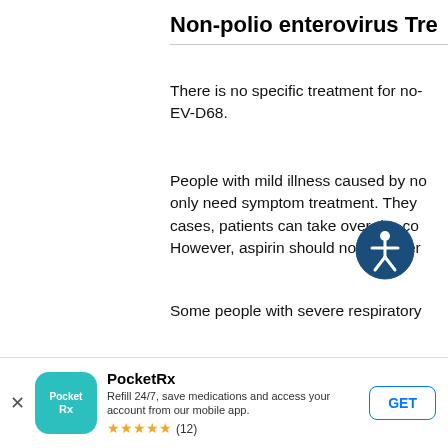Non-polio enterovirus Tre
There is no specific treatment for no... EV-D68.
People with mild illness caused by no... only need symptom treatment. They... cases, patients can take over-the-co... However, aspirin should not... ver...
Some people with severe respiratory...
There are no antiviral medications cu... infected with non-polio enterovirus in...
[Figure (infographic): Accessibility/wheelchair icon button overlay, circular dark blue background with white figure]
PocketRx
Refill 24/7, save medications and access your account from our mobile app.
★★★★★ (12)